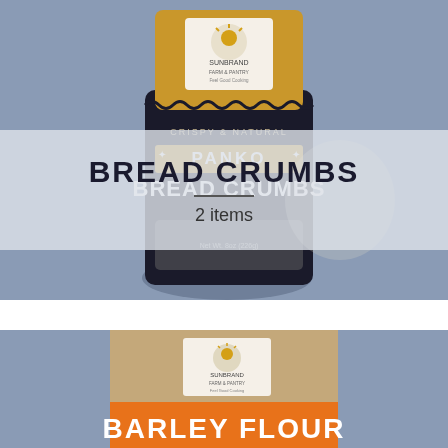[Figure (photo): Panko Bread Crumbs product package on blue-grey background — black and gold/mustard colored stand-up pouch with brand logo and 'CRISPY & NATURAL PANKO BREAD CRUMBS' text]
BREAD CRUMBS
2 items
[Figure (photo): Barley Flour product package partially visible — tan/kraft colored box with orange banner and 'BARLEY FLOUR' text, brand logo visible, on blue-grey background]